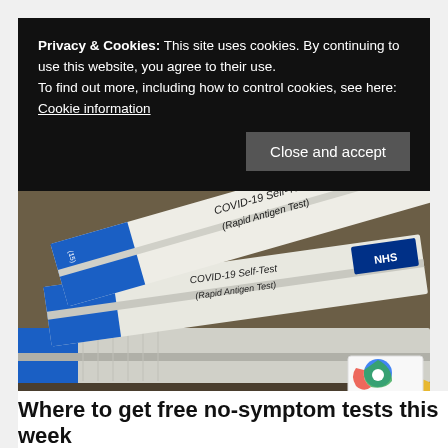Privacy & Cookies: This site uses cookies. By continuing to use this website, you agree to their use.
To find out more, including how to control cookies, see here: Cookie information
[Figure (photo): Stack of COVID-19 Self-Test (Rapid Antigen Test) boxes with blue and white packaging, NHS branding visible]
Where to get free no-symptom tests this week